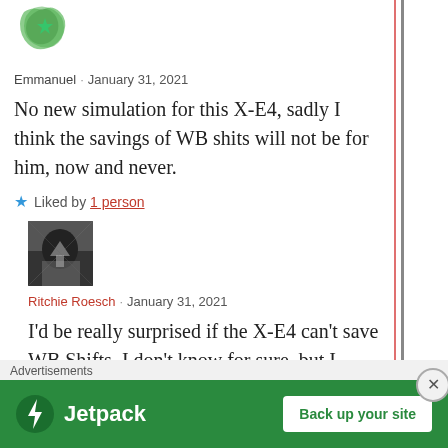[Figure (illustration): Avatar image - green abstract/leaf shape icon for user Emmanuel]
Emmanuel · January 31, 2021
No new simulation for this X-E4, sadly I think the savings of WB shits will not be for him, now and never.
★ Liked by 1 person
[Figure (photo): Avatar photo - dark monochrome photo for user Ritchie Roesch]
Ritchie Roesch · January 31, 2021
I'd be really surprised if the X-E4 can't save WB Shifts. I don't know for sure, but I believe that it will be
Advertisements
[Figure (illustration): Jetpack advertisement banner with 'Back up your site' button]